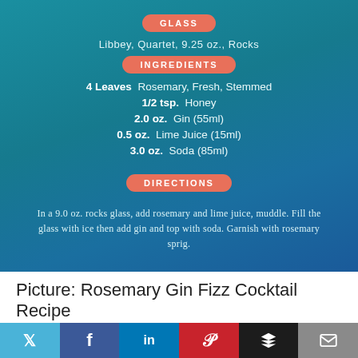GLASS
Libbey, Quartet, 9.25 oz., Rocks
INGREDIENTS
4 Leaves  Rosemary, Fresh, Stemmed
1/2 tsp.  Honey
2.0 oz.  Gin (55ml)
0.5 oz.  Lime Juice (15ml)
3.0 oz.  Soda (85ml)
DIRECTIONS
In a 9.0 oz. rocks glass, add rosemary and lime juice, muddle. Fill the glass with ice then add gin and top with soda. Garnish with rosemary sprig.
Picture: Rosemary Gin Fizz Cocktail Recipe
“Using the knowledge of our head chefs, who are often flown in from around the
Twitter | Facebook | LinkedIn | Pinterest | Buffer | Email